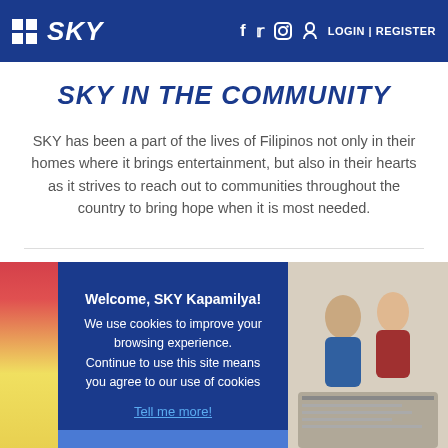SKY | LOGIN | REGISTER
SKY IN THE COMMUNITY
SKY has been a part of the lives of Filipinos not only in their homes where it brings entertainment, but also in their hearts as it strives to reach out to communities throughout the country to bring hope when it is most needed.
[Figure (screenshot): Cookie consent overlay on a blue background with partial photo visible. Overlay reads: Welcome, SKY Kapamilya! We use cookies to improve your browsing experience. Continue to use this site means you agree to our use of cookies. Tell me more!]